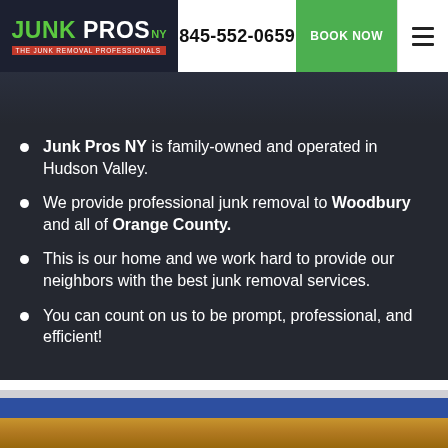845-552-0659 | BOOK NOW
Junk Pros NY is family-owned and operated in Hudson Valley.
We provide professional junk removal to Woodbury and all of Orange County.
This is our home and we work hard to provide our neighbors with the best junk removal services.
You can count on us to be prompt, professional, and efficient!